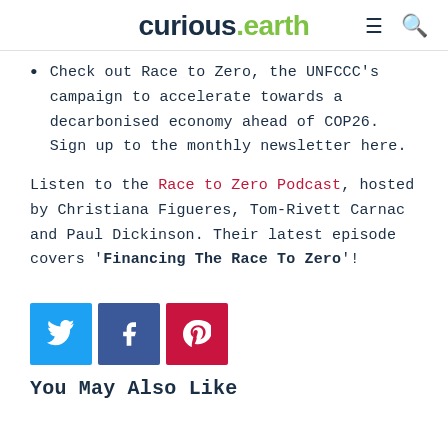curious.earth
Check out Race to Zero, the UNFCCC's campaign to accelerate towards a decarbonised economy ahead of COP26. Sign up to the monthly newsletter here.
Listen to the Race to Zero Podcast, hosted by Christiana Figueres, Tom-Rivett Carnac and Paul Dickinson. Their latest episode covers 'Financing The Race To Zero'!
[Figure (other): Social share buttons: Twitter (blue), Facebook (dark blue), Pinterest (red)]
You May Also Like